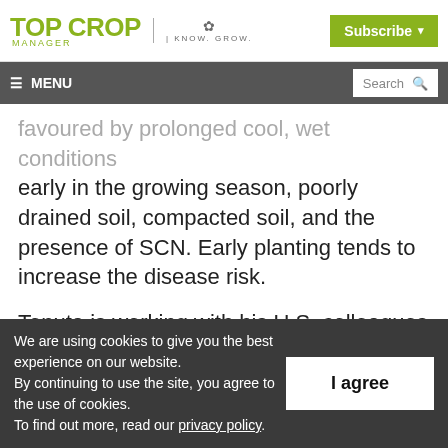Top Crop Manager | KNOW. GROW. | Subscribe
≡ MENU | Search
favoured by prolonged cool, wet conditions early in the growing season, poorly drained soil, compacted soil, and the presence of SCN. Early planting tends to increase the disease risk.
Tenuta is working with his U.S. colleagues on a
We are using cookies to give you the best experience on our website. By continuing to use the site, you agree to the use of cookies. To find out more, read our privacy policy.